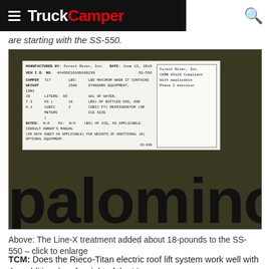TruckCamper
are starting with the SS-550.
[Figure (photo): Close-up photo of a Palomino RV weight label sticker on a green truck camper exterior wall. The label reads: MANUFACTURED BY: Forest River, Inc., DATE: June 12, 2018, VEH I.D. NO.: 4X4SSZ101GN108230, SS-550, CAMPER WEIGHT (lb): 717, LBS: 1580, LBS MAXIMUM WHEN IT CONTAINS STANDARD EQUIPMENT. Additional rows list water, gas, refrigerator, and ice weights. A separate white sticker reads: Forest River, Inc. CARB 03120 Compliant With applicable Phase 2 emission. The bottom of the image shows large black text reading 'palominorv' on a dark green/olive background.]
Above: The Line-X treatment added about 18-pounds to the SS-550 – click to enlarge
TCM: Does the Rieco-Titan electric roof lift system work well with the additional roof weight of the Line-